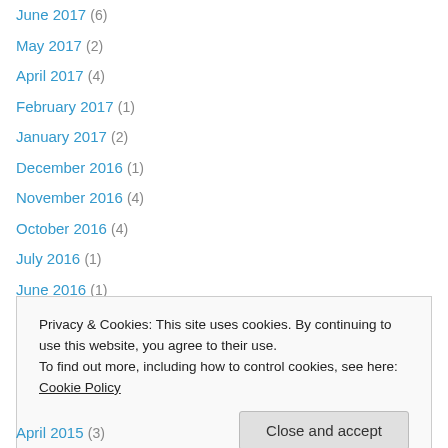June 2017 (6)
May 2017 (2)
April 2017 (4)
February 2017 (1)
January 2017 (2)
December 2016 (1)
November 2016 (4)
October 2016 (4)
July 2016 (1)
June 2016 (1)
May 2016 (3)
April 2016 (2)
March 2016 (2)
Privacy & Cookies: This site uses cookies. By continuing to use this website, you agree to their use. To find out more, including how to control cookies, see here: Cookie Policy
April 2015 (3)